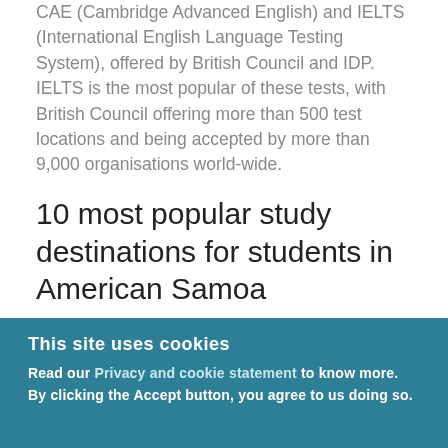CAE (Cambridge Advanced English) and IELTS (International English Language Testing System), offered by British Council and IDP. IELTS is the most popular of these tests, with British Council offering more than 500 test locations and being accepted by more than 9,000 organisations world-wide.
10 most popular study destinations for students in American Samoa
Where would you like to take your IELTS test? New York, Delhi, etc
This site uses cookies
Read our Privacy and cookie statement to know more. By clicking the Accept button, you agree to us doing so.